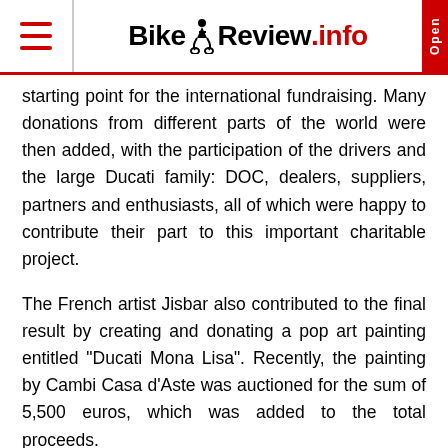BikeReview.info
starting point for the international fundraising. Many donations from different parts of the world were then added, with the participation of the drivers and the large Ducati family: DOC, dealers, suppliers, partners and enthusiasts, all of which were happy to contribute their part to this important charitable project.
The French artist Jisbar also contributed to the final result by creating and donating a pop art painting entitled "Ducati Mona Lisa". Recently, the painting by Cambi Casa d'Aste was auctioned for the sum of 5,500 euros, which was added to the total proceeds.
The sum raised by #raceagainstCovid is now in the hands of the S. Orsola Polyclinic in Bologna, which will manage the specific tasks for the disease action and…